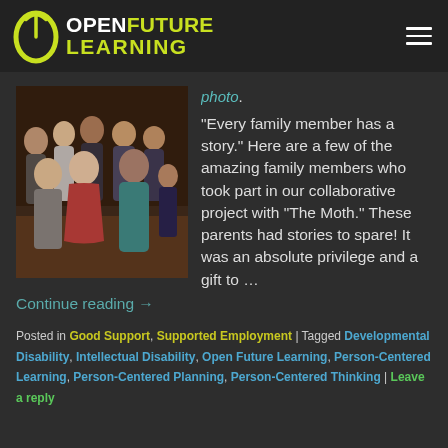[Figure (logo): Open Future Learning logo with leaf icon and text]
[Figure (photo): Group photo of multiple family members posing together indoors]
photo.
“Every family member has a story.” Here are a few of the amazing family members who took part in our collaborative project with “The Moth.” These parents had stories to spare! It was an absolute privilege and a gift to …
Continue reading →
Posted in Good Support, Supported Employment | Tagged Developmental Disability, Intellectual Disability, Open Future Learning, Person-Centered Learning, Person-Centered Planning, Person-Centered Thinking | Leave a reply